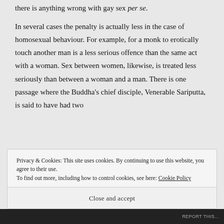there is anything wrong with gay sex per se.
In several cases the penalty is actually less in the case of homosexual behaviour. For example, for a monk to erotically touch another man is a less serious offence than the same act with a woman. Sex between women, likewise, is treated less seriously than between a woman and a man. There is one passage where the Buddha's chief disciple, Venerable Sariputta, is said to have had two
Privacy & Cookies: This site uses cookies. By continuing to use this website, you agree to their use.
To find out more, including how to control cookies, see here: Cookie Policy
Close and accept